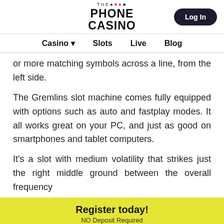THE PHONE CASINO | Log In
Casino  Slots  Live  Blog
or more matching symbols across a line, from the left side.
The Gremlins slot machine comes fully equipped with options such as auto and fastplay modes. It all works great on your PC, and just as good on smartphones and tablet computers.
It's a slot with medium volatility that strikes just the right middle ground between the overall frequency
Register today! NO Deposit Required
Login  Register